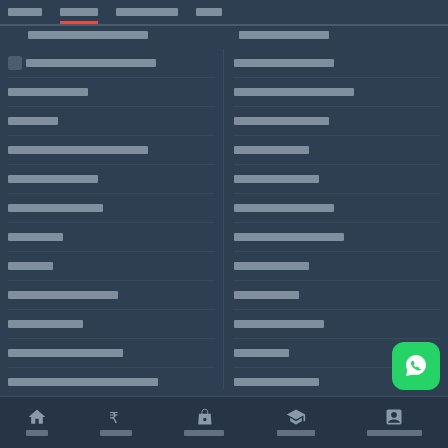Nav tabs: Tab1 (active), Tab2, Tab3, Tab4
Column headers (redacted in script)
Row 1 left - item with icon
Row 1 right
Row 2 left
Row 2 right
Row 3 left
Row 3 right
Row 4 left
Row 4 right
Row 5 left
Row 5 right
Row 6 left
Row 6 right
Row 7 left
Row 7 right
Row 8 left
Row 8 right
Row 9 left
Row 9 right
Row 10 left
Row 10 right
Row 11 left
Row 11 right
Row 12 left
Row 12 right
Bottom navigation: Home, Finance, Tractor, Mandi Rate, Tractor Calculator